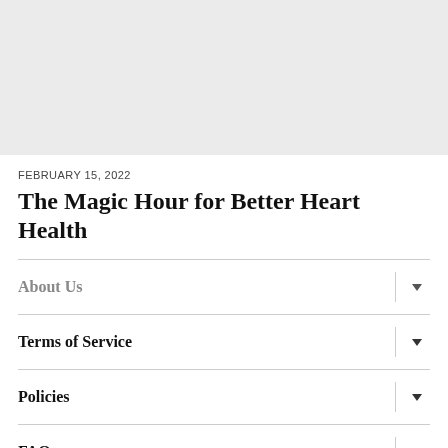[Figure (photo): Large grey placeholder image at top of page]
FEBRUARY 15, 2022
The Magic Hour for Better Heart Health
About Us
Terms of Service
Policies
FAQs